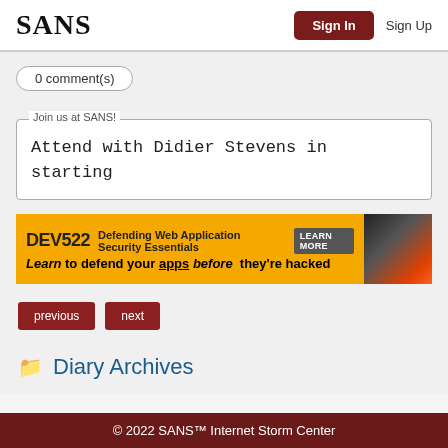SANS | Sign In | Sign Up
0 comment(s)
Join us at SANS! Attend with Didier Stevens in starting
[Figure (infographic): DEV522 Defending Web Application Security Essentials LEARN MORE - Learn to defend your apps before they're hacked]
previous
next
Diary Archives
© 2022 SANS™ Internet Storm Center